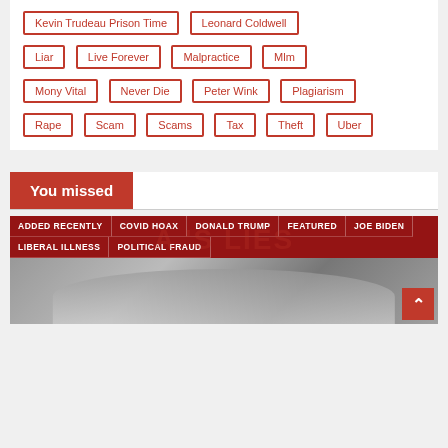Kevin Trudeau Prison Time
Leonard Coldwell
Liar
Live Forever
Malpractice
Mlm
Mony Vital
Never Die
Peter Wink
Plagiarism
Rape
Scam
Scams
Tax
Theft
Uber
You missed
[Figure (screenshot): Website navigation bar with categories: ADDED RECENTLY, COVID HOAX, DONALD TRUMP, FEATURED, JOE BIDEN, LIBERAL ILLNESS, POLITICAL FRAUD, followed by a newspaper-style image with faces]